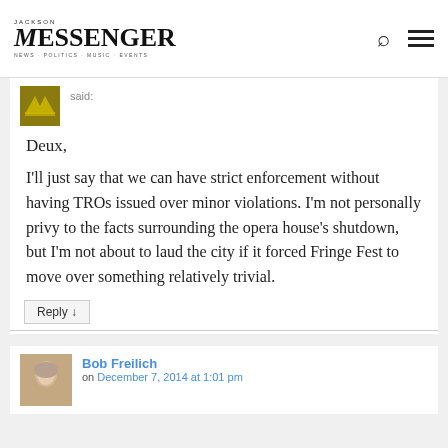Messenger
[Figure (illustration): Partial avatar image with yellow/gold crown motif on dark background]
said:
Deux,
I'll just say that we can have strict enforcement without having TROs issued over minor violations. I'm not personally privy to the facts surrounding the opera house's shutdown, but I'm not about to laud the city if it forced Fringe Fest to move over something relatively trivial.
Reply ↓
[Figure (photo): Photo of Bob Freilich, a person with light hair]
Bob Freilich
on December 7, 2014 at 1:01 pm